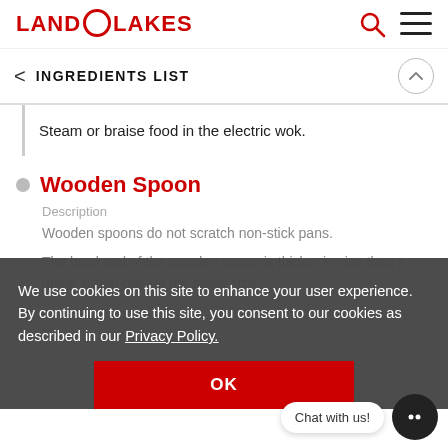LAND O LAKES
INGREDIENTS LIST
Steam or braise food in the electric wok.
Wooden Spoon
Description
Wooden spoons do not scratch non-stick pans.
The bowl end of the wooden spoon is thicker in size than a metal spoon but are the same size.
We use cookies on this site to enhance your user experience. By continuing to use this site, you consent to our cookies as described in our Privacy Policy.
OK
Chat with us!